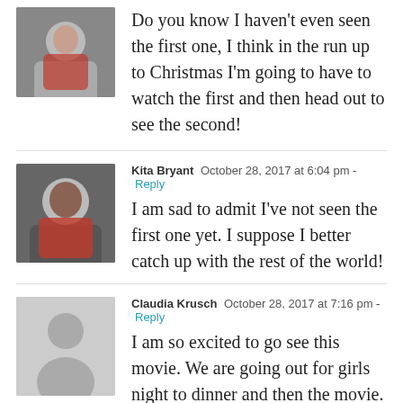Do you know I haven’t even seen the first one, I think in the run up to Christmas I’m going to have to watch the first and then head out to see the second!
Kita Bryant  October 28, 2017 at 6:04 pm - Reply
I am sad to admit I’ve not seen the first one yet. I suppose I better catch up with the rest of the world!
Claudia Krusch  October 28, 2017 at 7:16 pm - Reply
I am so excited to go see this movie. We are going out for girls night to dinner and then the movie. I loved the first one so